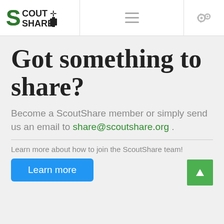ScoutShare — navigation header with logo, hamburger menu, and settings icon
Got something to share?
Become a ScoutShare member or simply send us an email to share@scoutshare.org .
Learn more about how to join the ScoutShare team!
Learn more